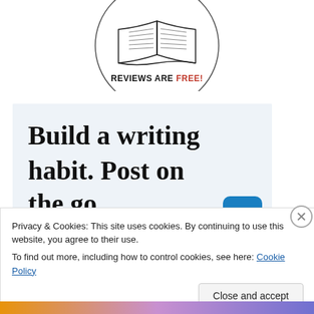[Figure (logo): Open book logo inside a circle with text REVIEWS ARE FREE! below the book illustration]
[Figure (infographic): Light blue advertisement banner with large serif text: Build a writing habit. Post on the go. GET THE APP label and WordPress icon]
Privacy & Cookies: This site uses cookies. By continuing to use this website, you agree to their use.
To find out more, including how to control cookies, see here: Cookie Policy
Close and accept